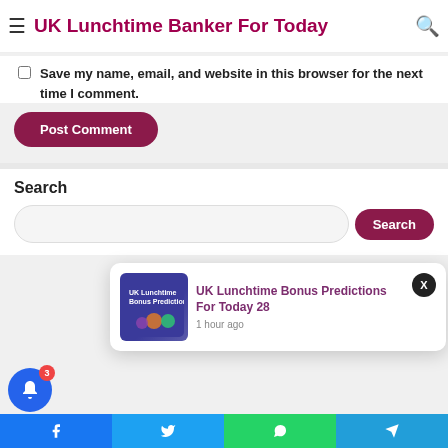UK Lunchtime Banker For Today
Save my name, email, and website in this browser for the next time I comment.
Post Comment
Search
Search
[Figure (screenshot): UK Lunchtime Bonus Predictions notification popup with thumbnail image]
UK Lunchtime Bonus Predictions For Today 28
1 hour ago
[Figure (infographic): Notification bell widget with blue circle and red badge showing 3]
Social share bar with Facebook, Twitter, WhatsApp, Telegram icons